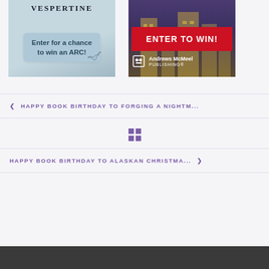[Figure (illustration): Book cover image with text overlay 'Enter for a chance to win an ARC!' on a light blue/teal background]
[Figure (illustration): Book cover with red banner 'ENTER TO WIN!' and Andrews McMeel Publishing logo on dark purple/gold background]
< HAPPY BOOK BIRTHDAY TO FORGING A NIGHTM...
[Figure (other): Grid/home navigation icon (four squares in a 2x2 grid)]
HAPPY BOOK BIRTHDAY TO ALASKAN CHRISTMA... >